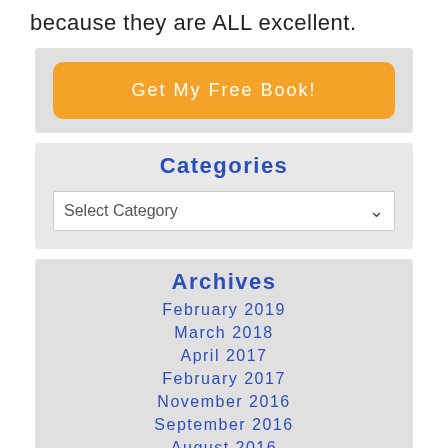because they are ALL excellent.
[Figure (other): Orange button labeled 'Get My Free Book!']
Categories
Select Category
Archives
February 2019
March 2018
April 2017
February 2017
November 2016
September 2016
August 2016